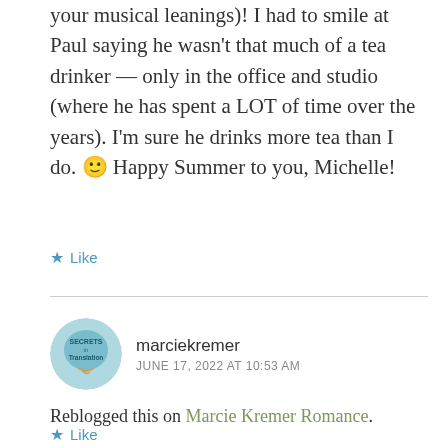your musical leanings)! I had to smile at Paul saying he wasn't that much of a tea drinker — only in the office and studio (where he has spent a LOT of time over the years). I'm sure he drinks more tea than I do. 🙂 Happy Summer to you, Michelle!
★ Like
marciekremer
JUNE 17, 2022 AT 10:53 AM
Reblogged this on Marcie Kremer Romance.
★ Like